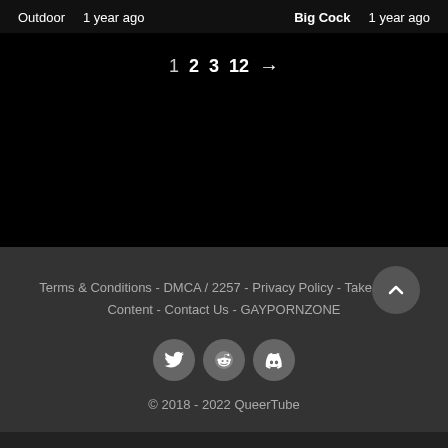Outdoor   1 year ago   Big Cock   1 year ago
1  2  3  12  →
Terms & Conditions - DMCA / 2257 - Privacy Policy - Take Down Content - Contact Us - GAYPORNZONE
[Figure (other): Social media icons: Twitter, Reddit, Discord]
© 2018 - 2022 QueerTube